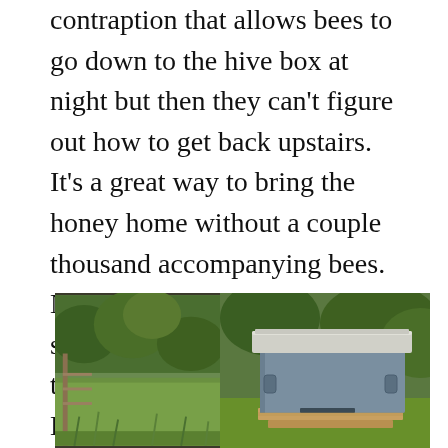contraption that allows bees to go down to the hive box at night but then they can't figure out how to get back upstairs. It's a great way to bring the honey home without a couple thousand accompanying bees. Nevertheless, there were still some bees that made it back to the house with the honey. BeeMan blew off those he could with my new leaf blower but, still, a few made it into the mudroom where we process the honey and they were buzzing around the room.
[Figure (photo): Outdoor photo split into two parts: left side shows a garden/field scene with green vegetation and wooden posts; right side shows a beehive box with a grey/white lid and blue-grey body sitting on a wooden base, surrounded by greenery.]